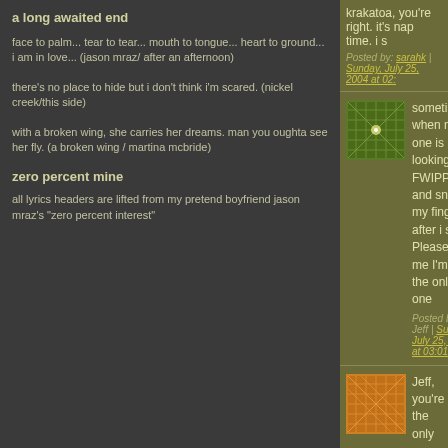a long awaited end
face to palm... tear to tear... mouth to tongue... heart to ground... i am in love... (jason mraz/ after an afternoon)
there's no place to hide but i don't think i'm scared. (nickel creek/this side)
with a broken wing, she carries her dreams. man you oughta see her fly. (a broken wing / martina mcbride)
zero percent mine
all lyrics headers are lifted from my pretend boyfriend jason mraz's "zero percent interest"
krakatoa, you're right. it's nap time. i s
Posted by: sarahk | Sunday, July 25, 2004 at 02:
sometimes, when no one is looking, i FWIPPPP and sniff my fingers after i s Please tell me I'm not the only one
Posted by: Jeff | Sunday, July 25, 2004 at 03:01
Jeff, you're the only one. you and Mar
Posted by: sarahk | Sunday, July 25, 2004 at 10:
re:dead crickets
About 2 years ago, I woke up with a d my cats had managed to get inside.
Posted by: jason of avoca | Monday, July 26, 200
I recommend the jack russell. They do